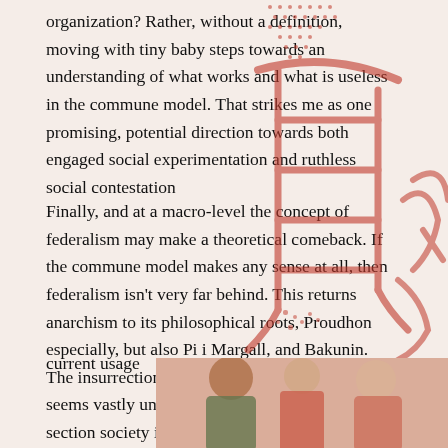organization? Rather, without a definition, moving with tiny baby steps towards an understanding of what works and what is useless in the commune model. That strikes me as one promising, potential direction towards both engaged social experimentation and ruthless social contestation
Finally, and at a macro-level the concept of federalism may make a theoretical comeback. If the commune model makes any sense at all, then federalism isn't very far behind. This returns anarchism to its philosophical roots, Proudhon especially, but also Pi i Margall, and Bakunin. The insurrectionary potential for federalism seems vastly underestimated. The movement to section society into smaller and smaller units, the federation of these units by mutual agreement, and the potential for economic cooperation and shared self-defense these units offer make of federalism a potentially daunting, though rather blunt, instrument. Note here that the
current usage
[Figure (photo): Bottom right photo showing people, partially visible, with warm red and orange tones]